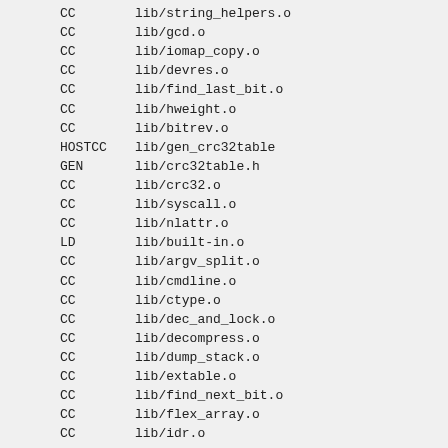CC      lib/string_helpers.o
CC      lib/gcd.o
CC      lib/iomap_copy.o
CC      lib/devres.o
CC      lib/find_last_bit.o
CC      lib/hweight.o
CC      lib/bitrev.o
HOSTCC  lib/gen_crc32table
GEN     lib/crc32table.h
CC      lib/crc32.o
CC      lib/syscall.o
CC      lib/nlattr.o
LD      lib/built-in.o
CC      lib/argv_split.o
CC      lib/cmdline.o
CC      lib/ctype.o
CC      lib/dec_and_lock.o
CC      lib/decompress.o
CC      lib/dump_stack.o
CC      lib/extable.o
CC      lib/find_next_bit.o
CC      lib/flex_array.o
CC      lib/idr.o
CC      lib/int_sqrt.o
CC      lib/ioremap.o
CC      lib/irq_regs.o
CC      lib/is_single_threaded.o